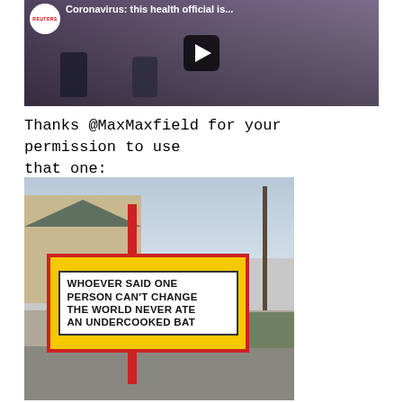[Figure (screenshot): Reuters news video thumbnail showing health officials at a press conference with microphones. Title partially visible: 'Coronavirus: this health official is...' with a play button overlay.]
Thanks @MaxMaxfield for your permission to use that one:
[Figure (photo): Photo of a roadside marquee sign with red border and yellow background reading: 'WHOEVER SAID ONE PERSON CAN'T CHANGE THE WORLD NEVER ATE AN UNDERCOOKED BAT'. Sign is on a stand in a gravel area with houses and street visible in background.]